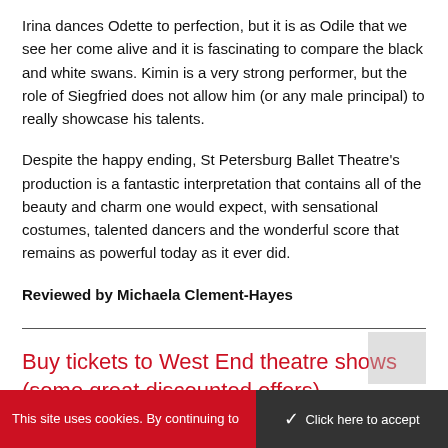Irina dances Odette to perfection, but it is as Odile that we see her come alive and it is fascinating to compare the black and white swans. Kimin is a very strong performer, but the role of Siegfried does not allow him (or any male principal) to really showcase his talents.
Despite the happy ending, St Petersburg Ballet Theatre's production is a fantastic interpretation that contains all of the beauty and charm one would expect, with sensational costumes, talented dancers and the wonderful score that remains as powerful today as it ever did.
Reviewed by Michaela Clement-Hayes
Buy tickets to West End theatre shows (some great discounted offers)
This site uses cookies. By continuing to
Click here to accept